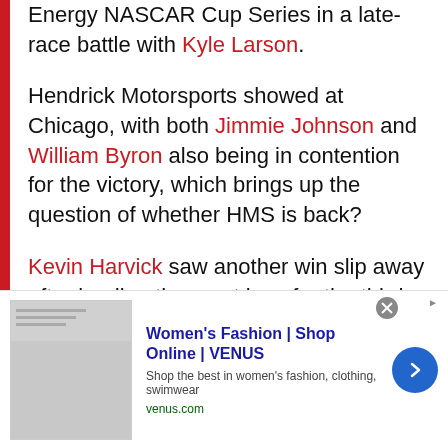Energy NASCAR Cup Series in a late-race battle with Kyle Larson.
Hendrick Motorsports showed at Chicago, with both Jimmie Johnson and William Byron also being in contention for the victory, which brings up the question of whether HMS is back?
Kevin Harvick saw another win slip away after leading the most laps for the third time this season. But when the No. 4 car got in the wall late, should NASCAR have thrown the caution? Spoiler: We say no.
[Figure (other): Advertisement banner for Women's Fashion at VENUS (venus.com) with shopping image, blue title text, description, and a blue arrow button.]